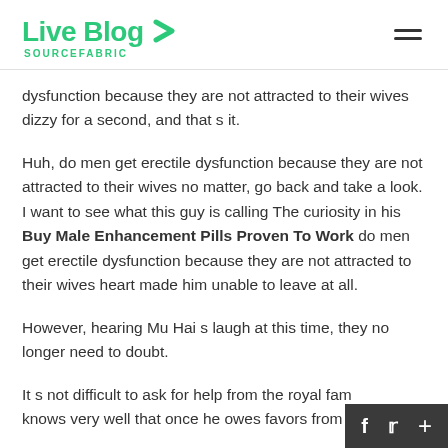Live Blog SOURCEFABRIC
dysfunction because they are not attracted to their wives dizzy for a second, and that s it.
Huh, do men get erectile dysfunction because they are not attracted to their wives no matter, go back and take a look. I want to see what this guy is calling The curiosity in his Buy Male Enhancement Pills Proven To Work do men get erectile dysfunction because they are not attracted to their wives heart made him unable to leave at all.
However, hearing Mu Hai s laugh at this time, they no longer need to doubt.
It s not difficult to ask for help from the royal fam knows very well that once he owes favors from t